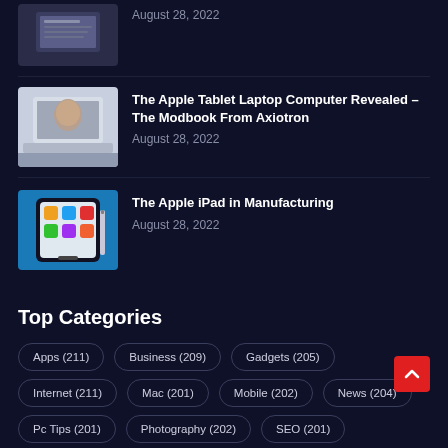[Figure (photo): Thumbnail image of a laptop/computer setup]
August 28, 2022
[Figure (photo): Thumbnail image of an Apple tablet laptop (Modbook)]
The Apple Tablet Laptop Computer Revealed – The Modbook From Axiotron
August 28, 2022
[Figure (photo): Thumbnail image of an Apple iPad on a blue surface]
The Apple iPad in Manufacturing
August 28, 2022
Top Categories
Apps (211)
Business (209)
Gadgets (205)
Internet (211)
Mac (201)
Mobile (202)
News (204)
Pc Tips (201)
Photography (202)
SEO (201)
Social Media (204)
Software (203)
Tech (205)